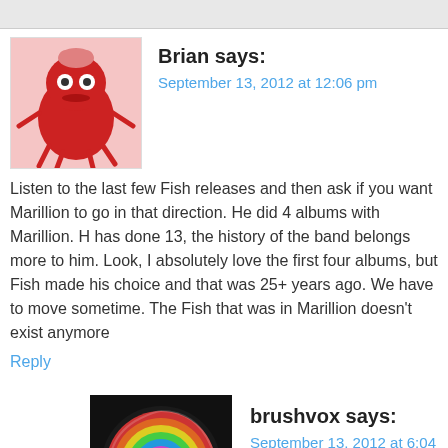Brian says: September 13, 2012 at 12:06 pm
Listen to the last few Fish releases and then ask if you want Marillion to go in that direction. He did 4 albums with Marillion. H has done 13, the history of the band belongs more to him. Look, I absolutely love the first four albums, but Fish made his choice and that was 25+ years ago. We have to move sometime. The Fish that was in Marillion doesn't exist anymore
Reply
brushvox says: September 13, 2012 at 6:04 pm
I think I lost tracking Fish around “Fellini Days”…. that was around 2000 I guess….. 🙂 “Raingods with Zippos” was a nice one, by the way. We’re all getting older and we’re lost our edge… That’s a fact.